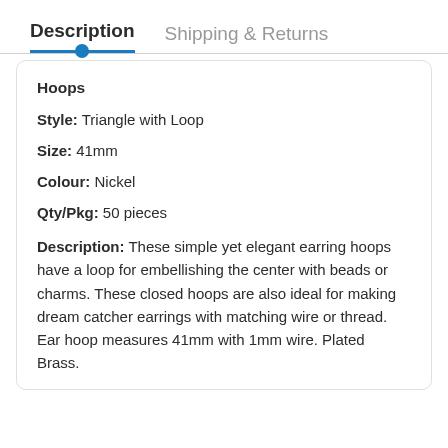Description
Shipping & Returns
Hoops
Style: Triangle with Loop
Size: 41mm
Colour: Nickel
Qty/Pkg: 50 pieces
Description: These simple yet elegant earring hoops have a loop for embellishing the center with beads or charms. These closed hoops are also ideal for making dream catcher earrings with matching wire or thread. Ear hoop measures 41mm with 1mm wire. Plated Brass. Nickel free and hypoallergenic.